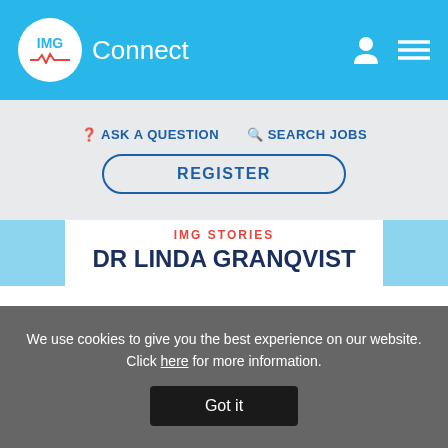IMG Connect
ASK A QUESTION   SEARCH JOBS
REGISTER
IMG STORIES
DR LINDA GRANQVIST
A psychiatrist's journey to the UK - Dr Linda Granqvist
Are you an overseas psychiatrist looking to move to the UK? Here, you can hear first-
We use cookies to give you the best experience on our website. Click here for more information. Got it